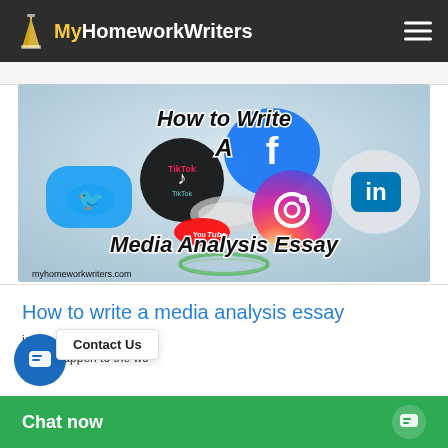MyHomeworkWriters
[Figure (illustration): Hero banner image showing social media app icons (Twitter, TikTok, Facebook, Instagram, LinkedIn, YouTube) as 3D buttons/pins on a light blue-grey background, with overlaid bold italic text reading 'How to Write A Media Analysis Essay' and URL 'myhomeworkwriters.com']
How to write a media analysis essay
ia would happen to the wo
Contact Us
Chat now